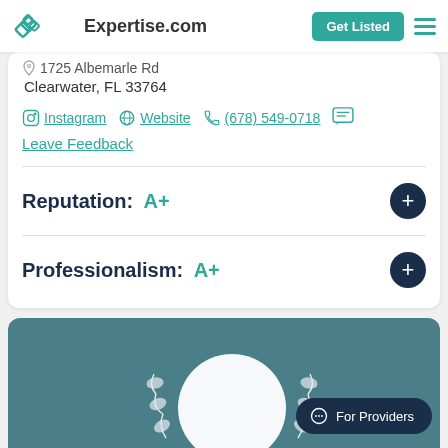Expertise.com | Get Listed
1725 Albemarle Rd
Clearwater, FL 33764
Instagram | Website | (678) 549-0718
Leave Feedback
Reputation: A+
Professionalism: A+
[Figure (other): Teal card section with white circular profile placeholder, laurel wreath icon, and For Providers chat button]